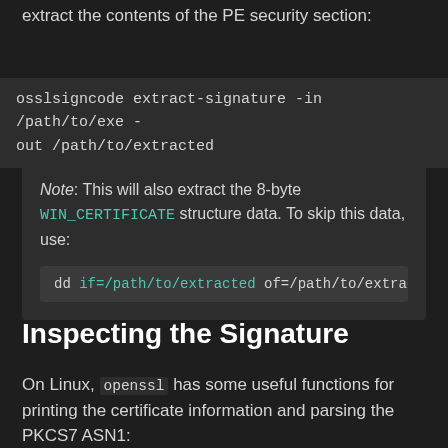extract the contents of the PE security section:
Note: This will also extract the 8-byte WIN_CERTIFICATE structure data. To skip this data, use:
Inspecting the Signature
On Linux, openssl has some useful functions for printing the certificate information and parsing the PKCS7 ASN1: